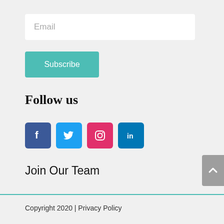Email
Subscribe
Follow us
[Figure (infographic): Social media icons: Facebook (blue), Twitter (light blue), Instagram (pink/red), LinkedIn (dark blue)]
Join Our Team
Copyright 2020 | Privacy Policy